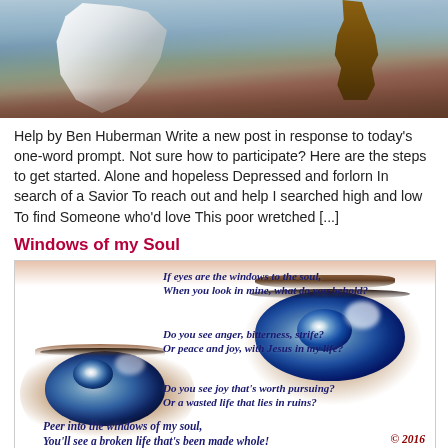[Figure (illustration): Painting-style image showing white flowing fabric/figure and a brown tree against a blue-grey background, cropped at top]
Help by Ben Huberman Write a new post in response to today's one-word prompt. Not sure how to participate? Here are the steps to get started. Alone and hopeless Depressed and forlorn In search of a Savior To reach out and help I searched high and low To find Someone who'd love This poor wretched [...]
Windows of my Soul
[Figure (photo): Close-up photograph of a woman's blue eyes with poem text overlaid in dark blue bold italic. The poem reads: 'If eyes are the windows to the soul, / When you look in mine, what do you behold? / Do you see anger, bitterness, strife? / Or peace and joy, with Jesus in my life? / Do you see joy that's worth pursuing? / Or a wasted life that lies in ruins? / Peer into the windows of my soul, / You'll see a broken life that's been made whole!' with copyright '© 2016 Cheryl A. Showers']